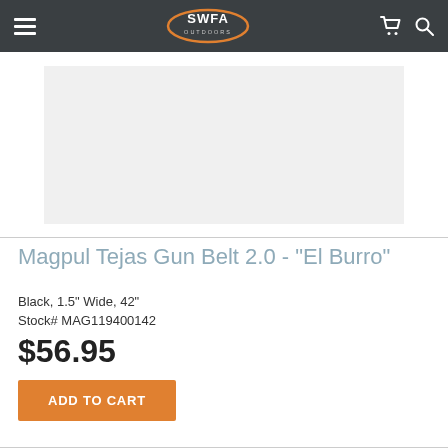SWFA Outdoors
[Figure (photo): Product image placeholder — light gray rectangle representing the Magpul Tejas Gun Belt 2.0 product photo]
Magpul Tejas Gun Belt 2.0 - "El Burro"
Black, 1.5" Wide, 42"
Stock# MAG119400142
$56.95
ADD TO CART